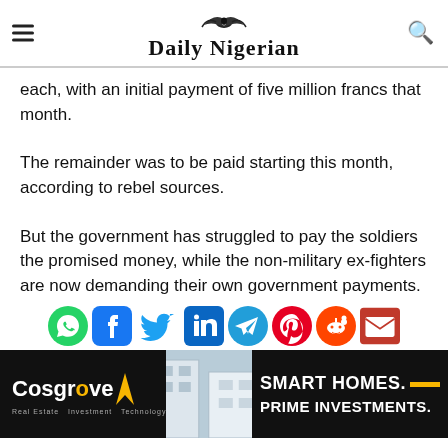Daily Nigerian
each, with an initial payment of five million francs that month.
The remainder was to be paid starting this month, according to rebel sources.
But the government has struggled to pay the soldiers the promised money, while the non-military ex-fighters are now demanding their own government payments.
[Figure (infographic): Social media share icons: WhatsApp, Facebook, Twitter, LinkedIn, Telegram, Pinterest, Reddit, Email]
[Figure (infographic): Cosgrove real estate advertisement banner with logo, building photo, and text: SMART HOMES. PRIME INVESTMENTS.]